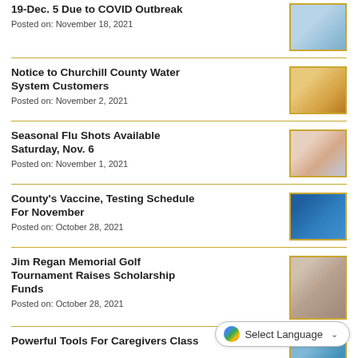19-Dec. 5 Due to COVID Outbreak
Posted on: November 18, 2021
Notice to Churchill County Water System Customers
Posted on: November 2, 2021
Seasonal Flu Shots Available Saturday, Nov. 6
Posted on: November 1, 2021
County's Vaccine, Testing Schedule For November
Posted on: October 28, 2021
Jim Regan Memorial Golf Tournament Raises Scholarship Funds
Posted on: October 28, 2021
Powerful Tools For Caregivers Class